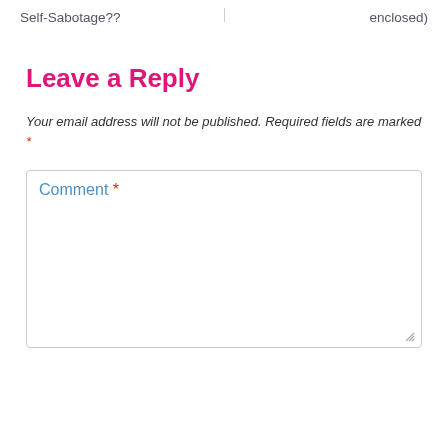Self-Sabotage??    enclosed)
Leave a Reply
Your email address will not be published. Required fields are marked *
Comment *